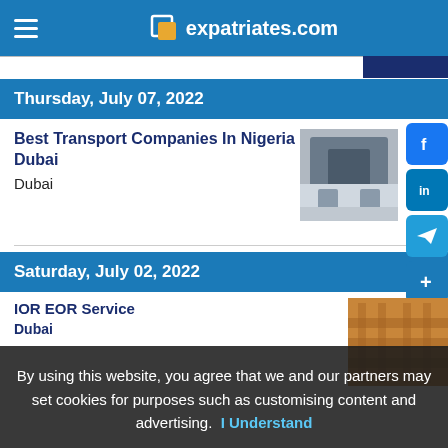expatriates.com
Thursday, July 07, 2022
Best Transport Companies In Nigeria Dubai
Dubai
[Figure (photo): Photo of a delivery van with open rear doors]
Saturday, July 02, 2022
IOR EOR Service
Dubai
[Figure (photo): Photo of industrial/warehouse setting]
By using this website, you agree that we and our partners may set cookies for purposes such as customising content and advertising.  I Understand